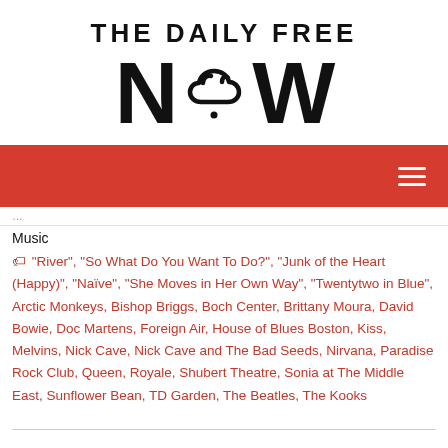[Figure (logo): The Daily Free Now logo — black bold text 'THE DAILY FREE' above large 'NOW' with a thought-bubble cloud replacing the 'O']
[Figure (other): Red navigation bar with white hamburger/menu icon on the right]
Music
🏷 "River", "So What Do You Want To Do?", "Junk of the Heart (Happy)", "Naïve", "She Moves in Her Own Way", "Twentytwo in Blue", Arctic Monkeys, Bishop Briggs, Boch Center, Brittany Moura, David Bowie, Doc Martens, Foreign Air, House of Blues Boston, Kiss, Melvins, Nick Cave, Nick Cave and The Bad Seeds, Nirvana, Paradise Rock Club, Queen, Royale, Shubert Theatre, Sonia at The Middle East, Sunflower Bean, TD Garden, The Beatles, The Kooks